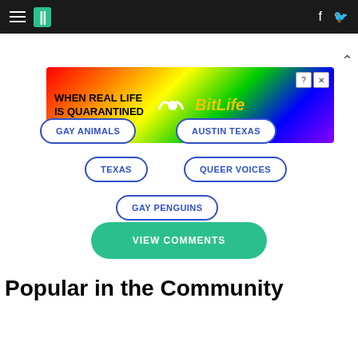HuffPost navigation header with hamburger menu, logo, Facebook and Twitter icons
[Figure (infographic): BitLife advertisement banner: 'When Real Life Is Quarantined' with rainbow background and BitLife game logo]
GAY ANIMALS
AUSTIN TEXAS
TEXAS
QUEER VOICES
GAY PENGUINS
VIEW COMMENTS
Popular in the Community